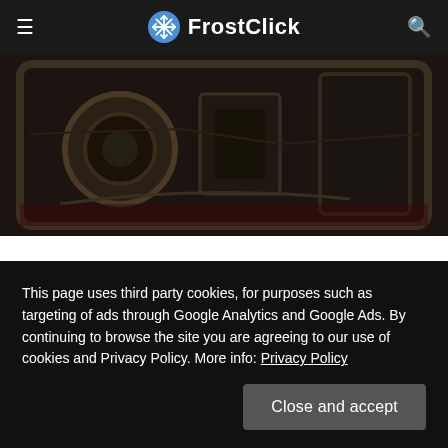FrostClick
[Figure (photo): Dark, gritty game screenshot showing underside of a vehicle with metallic surfaces, chains, and zombie-themed imagery for Zombie Roadkill 3D]
ZOMBIE ROADKILL 3D
MEL * NOVEMBER 12, 2014
This page uses third party cookies, for purposes such as targeting of ads through Google Analytics and Google Ads. By continuing to browse the site you are agreeing to our use of cookies and Privacy Policy. More info: Privacy Policy
Close and accept